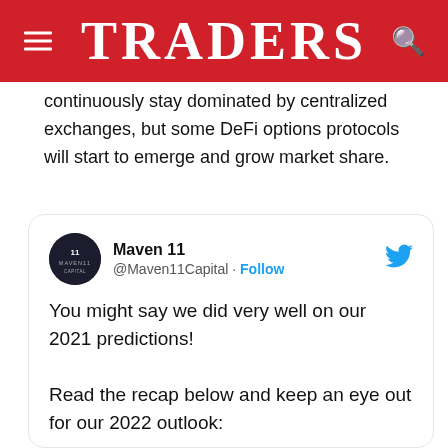TRADERS
continuously stay dominated by centralized exchanges, but some DeFi options protocols will start to emerge and grow market share.
[Figure (screenshot): Embedded tweet from Maven 11 (@Maven11Capital) with text: 'You might say we did very well on our 2021 predictions! Read the recap below and keep an eye out for our 2022 outlook:' along with a dark photo showing purple/blue illuminated '2021' numbers.]